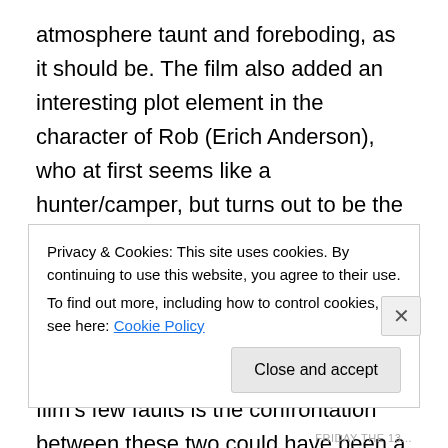atmosphere taunt and foreboding, as it should be. The film also added an interesting plot element in the character of Rob (Erich Anderson), who at first seems like a hunter/camper, but turns out to be the vengeful brother of a girl murdered by Jason (Sandra played by Marta Kober from Part 2) and he is now stalking the lethal serial killer with the intent of ending his reign of terror. One of the film's few faults is the confrontation between these two could have been a bit more epic. The character of young Tommy (Feldman) being a bit of a geek/make-up artist also adds a fun twist to the proceedings
Privacy & Cookies: This site uses cookies. By continuing to use this website, you agree to their use.
To find out more, including how to control cookies, see here: Cookie Policy
Close and accept